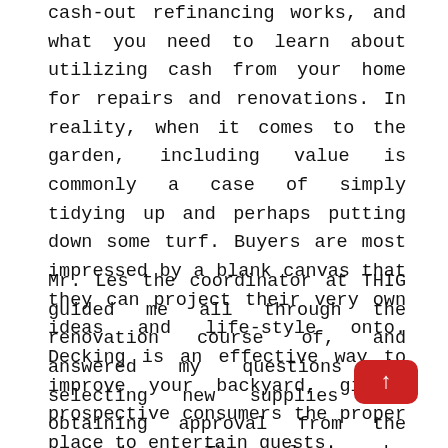cash-out refinancing works, and what you need to learn about utilizing cash from your home for repairs and renovations. In reality, when it comes to the garden, including value is commonly a case of simply tidying up and perhaps putting down some turf. Buyers are most impressed by a blank canvas that they can project their very own ideas and life-style onto. Decking is an effective way to improve your backyard, giving prospective consumers the proper place to entertain guests.
Mr. Les the coordinator at THIG guided me all through the renovation course of, and answered my questions in selecting new supplies and obtaining approval from the condo board. The employees who got here in to make walls and floors had been on schedule, environmentally friendly and thorough with their jobs. Nationally